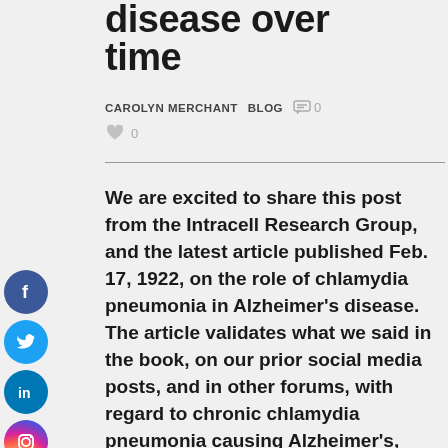disease over time
CAROLYN MERCHANT   BLOG   0   0
We are excited to share this post from the Intracell Research Group, and the latest article published Feb. 17, 1922, on the role of chlamydia pneumonia in Alzheimer's disease. The article validates what we said in the book, on our prior social media posts, and in other forums, with regard to chronic chlamydia pneumonia causing Alzheimer's, and the mechanisms by which the